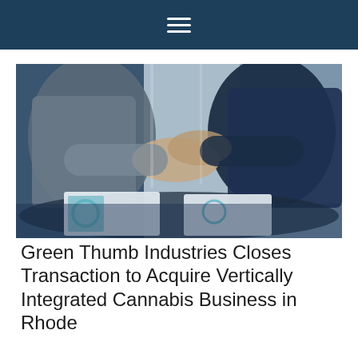≡
[Figure (photo): Two businesspeople shaking hands over a table with documents and charts, one wearing a dark blue suit and the other a grey shirt, in an office setting with bright windows in the background.]
Green Thumb Industries Closes Transaction to Acquire Vertically Integrated Cannabis Business in Rhode